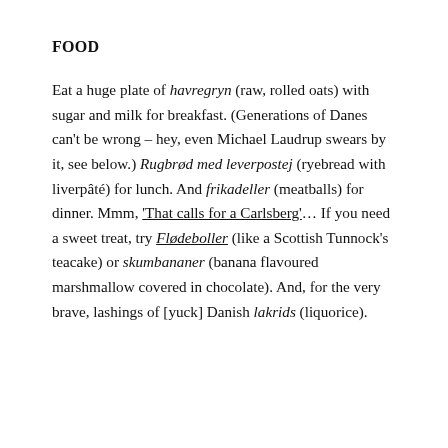FOOD
Eat a huge plate of havregryn (raw, rolled oats) with sugar and milk for breakfast. (Generations of Danes can't be wrong – hey, even Michael Laudrup swears by it, see below.) Rugbrød med leverpostej (ryebread with liverpâté) for lunch. And frikadeller (meatballs) for dinner. Mmm, 'That calls for a Carlsberg'… If you need a sweet treat, try Flødeboller (like a Scottish Tunnock's teacake) or skumbananer (banana flavoured marshmallow covered in chocolate). And, for the very brave, lashings of [yuck] Danish lakrids (liquorice).